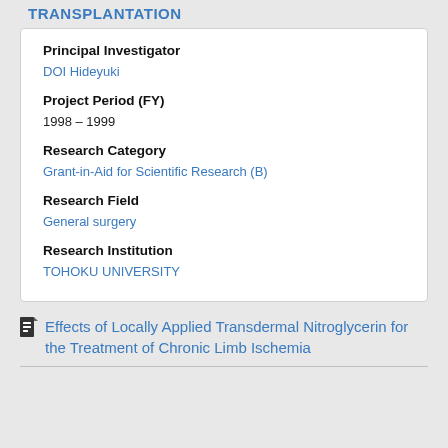TRANSPLANTATION
Principal Investigator
DOI Hideyuki
Project Period (FY)
1998 – 1999
Research Category
Grant-in-Aid for Scientific Research (B)
Research Field
General surgery
Research Institution
TOHOKU UNIVERSITY
Effects of Locally Applied Transdermal Nitroglycerin for the Treatment of Chronic Limb Ischemia